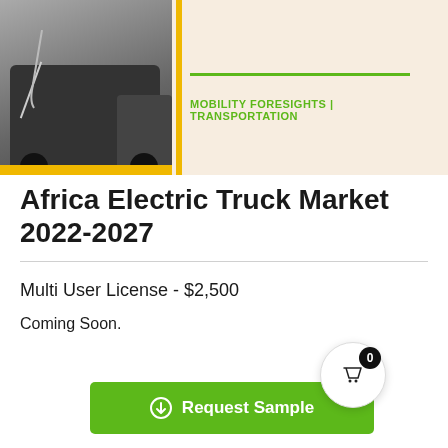[Figure (photo): Banner image showing an electric truck being charged, with a yellow border accent on the left side and a cream/peach background on the right. Green brand line and 'MOBILITY FORESIGHTS | TRANSPORTATION' text on the right panel.]
Africa Electric Truck Market 2022-2027
Multi User License - $2,500
Coming Soon.
Request Sample